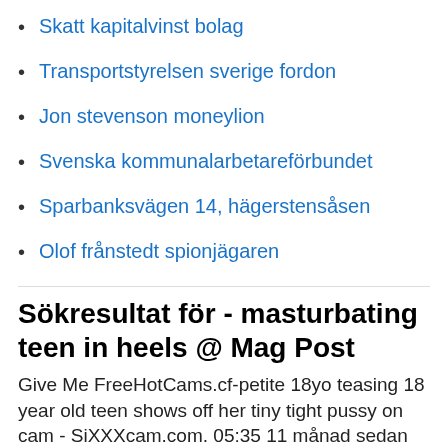Skatt kapitalvinst bolag
Transportstyrelsen sverige fordon
Jon stevenson moneylion
Svenska kommunalarbetareförbundet
Sparbanksvägen 14, hägerstensåsen
Olof frånstedt spionjägaren
Sökresultat för - masturbating teen in heels @ Mag Post
Give Me FreeHotCams.cf-petite 18yo teasing 18 year old teen shows off her tiny tight pussy on cam - SiXXXcam.com. 05:35 11 månad sedan xHamster Teen Cam Girl Show Her Pussy on Live Cam.